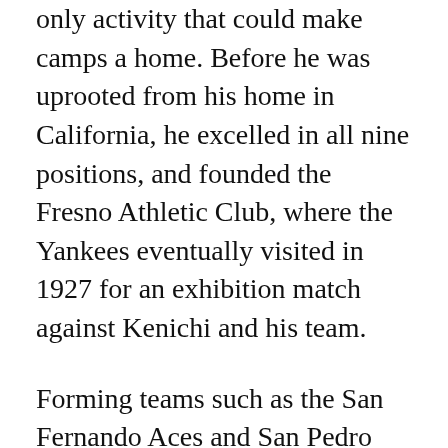only activity that could make camps a home. Before he was uprooted from his home in California, he excelled in all nine positions, and founded the Fresno Athletic Club, where the Yankees eventually visited in 1927 for an exhibition match against Kenichi and his team.
Forming teams such as the San Fernando Aces and San Pedro Gophers, baseball helped incarcerated Japanese-Americans distance themselves from the war, from their moral dilemmas of identity. For one prisoner (and perhaps for many others as